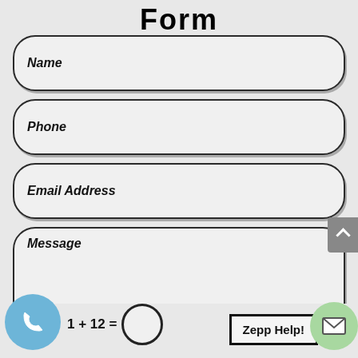Form
Name
Phone
Email Address
Message
1 + 12 =
Zepp Help!